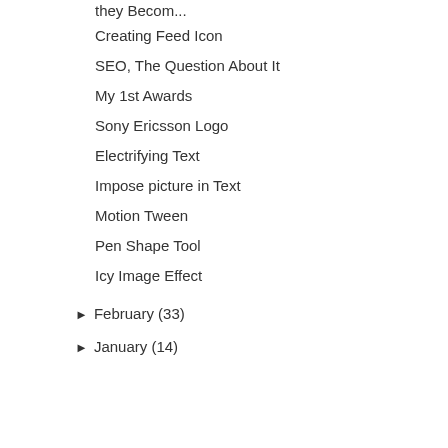they Becom...
Creating Feed Icon
SEO, The Question About It
My 1st Awards
Sony Ericsson Logo
Electrifying Text
Impose picture in Text
Motion Tween
Pen Shape Tool
Icy Image Effect
► February (33)
► January (14)